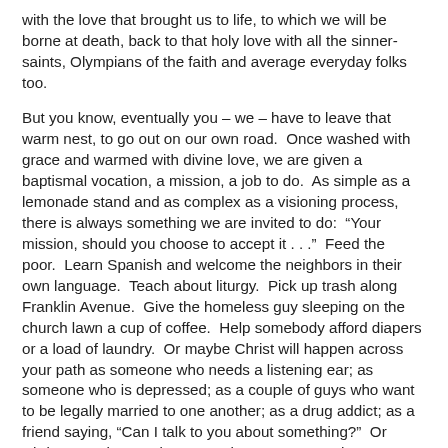with the love that brought us to life, to which we will be borne at death, back to that holy love with all the sinner-saints, Olympians of the faith and average everyday folks too.
But you know, eventually you – we – have to leave that warm nest, to go out on our own road.  Once washed with grace and warmed with divine love, we are given a baptismal vocation, a mission, a job to do.  As simple as a lemonade stand and as complex as a visioning process, there is always something we are invited to do:  “Your mission, should you choose to accept it . . .”  Feed the poor.  Learn Spanish and welcome the neighbors in their own language.  Teach about liturgy.  Pick up trash along Franklin Avenue.  Give the homeless guy sleeping on the church lawn a cup of coffee.  Help somebody afford diapers or a load of laundry.  Or maybe Christ will happen across your path as someone who needs a listening ear; as someone who is depressed; as a couple of guys who want to be legally married to one another; as a drug addict; as a friend saying, “Can I talk to you about something?”  Or Christ may show up in your path as someone who names your life as a blessing to them, when you did not realize it.